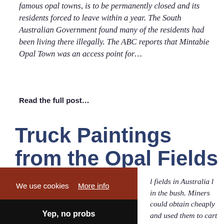famous opal towns, is to be permanently closed and its residents forced to leave within a year. The South Australian Government found many of the residents had been living there illegally. The ABC reports that Mintabie Opal Town was an access point for…
Read the full post…
Truck Paintings from the Opal Fields
We use cookies  More info
Yep, no probs
l fields in Australia l in the bush. Miners could obtain cheaply and used them to cart mullock (dirt from their